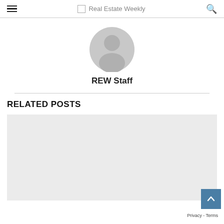Real Estate Weekly
[Figure (illustration): Generic user avatar icon — circular grey silhouette of a person on white background]
REW Staff
RELATED POSTS
[Figure (photo): Light grey placeholder rectangle for a related post image]
Privacy - Terms